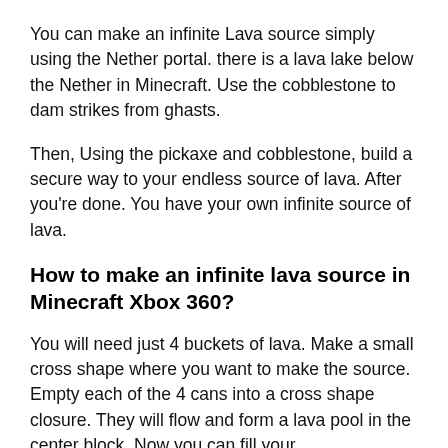You can make an infinite Lava source simply using the Nether portal. there is a lava lake below the Nether in Minecraft. Use the cobblestone to dam strikes from ghasts.
Then, Using the pickaxe and cobblestone, build a secure way to your endless source of lava. After you're done. You have your own infinite source of lava.
How to make an infinite lava source in Minecraft Xbox 360?
You will need just 4 buckets of lava. Make a small cross shape where you want to make the source. Empty each of the 4 cans into a cross shape closure. They will flow and form a lava pool in the center block. Now you can fill your